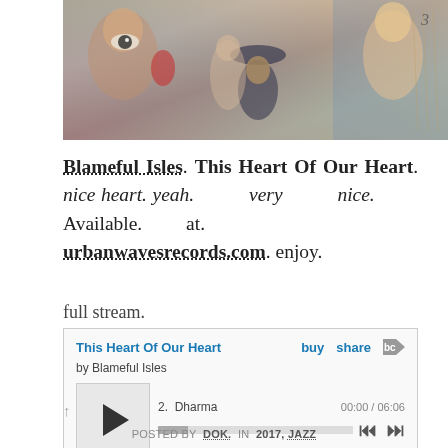[Figure (illustration): Colorful artwork banner with surrealist/spiritual imagery including an eye, faces, figures in various cultural styles, warm earth tones with blue accents]
Blameful Isles. This Heart Of Our Heart. nice heart. yeah. very nice. Available. at. urbanwavesrecords.com. enjoy.
full stream.
[Figure (screenshot): Bandcamp music player widget showing album 'This Heart Of Our Heart' by Blameful Isles, playing track 2. Dharma at 00:00 / 06:06 with play button, progress bar, and navigation controls]
POSTED BY DOK. IN 2017, JAZZ